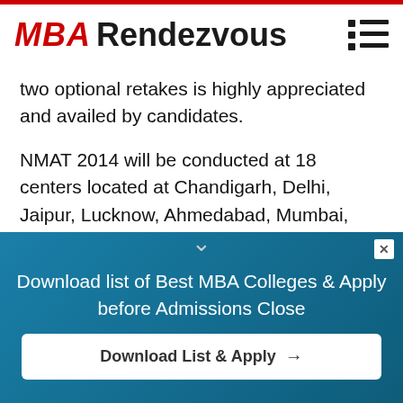MBA Rendezvous
two optional retakes is highly appreciated and availed by candidates.
NMAT 2014 will be conducted at 18 centers located at Chandigarh, Delhi, Jaipur, Lucknow, Ahmedabad, Mumbai, Nagpur, Bangalore, Chennai, Cochin, Hyderabad, Bhillai, Bhopal, Indore, Bhubaneswar, Guwahati, Kolkata and Patna.
[Figure (infographic): Blue banner advertisement with text 'Download list of Best MBA Colleges & Apply before Admissions Close' and a white button 'Download List & Apply →']